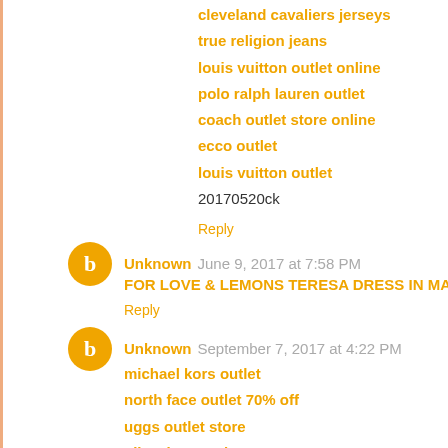cleveland cavaliers jerseys
true religion jeans
louis vuitton outlet online
polo ralph lauren outlet
coach outlet store online
ecco outlet
louis vuitton outlet
20170520ck
Reply
Unknown  June 9, 2017 at 7:58 PM
FOR LOVE & LEMONS TERESA DRESS IN MAROON Self Po
Reply
Unknown  September 7, 2017 at 4:22 PM
michael kors outlet
north face outlet 70% off
uggs outlet store
nike air max uk
louis vuitton
canada goose sale